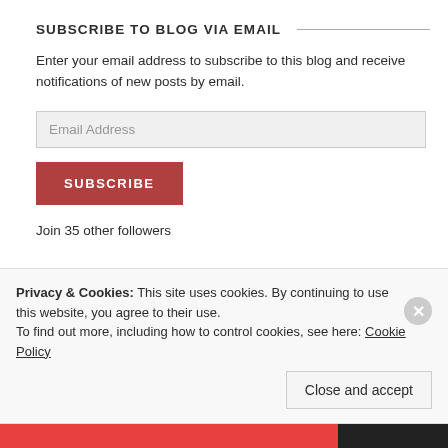SUBSCRIBE TO BLOG VIA EMAIL
Enter your email address to subscribe to this blog and receive notifications of new posts by email.
Email Address
SUBSCRIBE
Join 35 other followers
Privacy & Cookies: This site uses cookies. By continuing to use this website, you agree to their use.
To find out more, including how to control cookies, see here: Cookie Policy
Close and accept